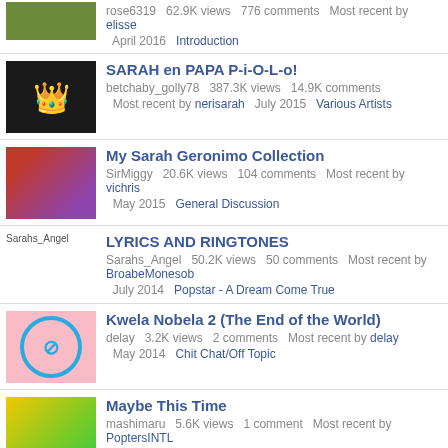rose6319   62.9K views   776 comments   Most recent by elisse
April 2016   Introduction
SARAH en PAPA P-i-O-L-o! — betchaby_golly78   387.3K views   14.9K comments — Most recent by nerisarah   July 2015   Various Artists
My Sarah Geronimo Collection — SirMiggy   20.6K views   104 comments   Most recent by vichris — May 2015   General Discussion
LYRICS AND RINGTONES — Sarahs_Angel   50.2K views   50 comments   Most recent by BroabeMonesob — July 2014   Popstar - A Dream Come True
Kwela Nobela 2 (The End of the World) — delay   3.2K views   2 comments   Most recent by delay — May 2014   Chit Chat/Off Topic
Maybe This Time — mashimaru   5.6K views   1 comment   Most recent by PoptersINTL — May 2014   Big Screen
ASAP Sounds